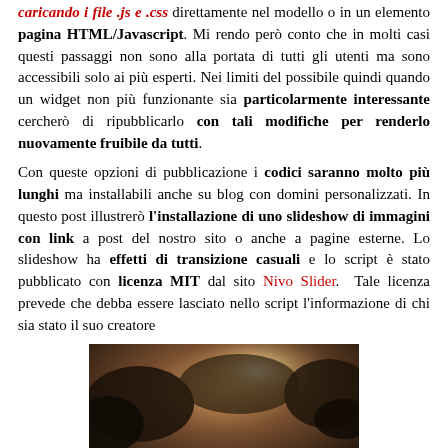caricando i file .js e .css direttamente nel modello o in un elemento pagina HTML/Javascript. Mi rendo però conto che in molti casi questi passaggi non sono alla portata di tutti gli utenti ma sono accessibili solo ai più esperti. Nei limiti del possibile quindi quando un widget non più funzionante sia particolarmente interessante cercherò di ripubblicarlo con tali modifiche per renderlo nuovamente fruibile da tutti.
Con queste opzioni di pubblicazione i codici saranno molto più lunghi ma installabili anche su blog con domini personalizzati. In questo post illustrerò l'installazione di uno slideshow di immagini con link a post del nostro sito o anche a pagine esterne. Lo slideshow ha effetti di transizione casuali e lo script è stato pubblicato con licenza MIT dal sito Nivo Slider. Tale licenza prevede che debba essere lasciato nello script l'informazione di chi sia stato il suo creatore
[Figure (screenshot): A slideshow widget showing a dark stormy sky with lightning. A caption bar at the bottom reads 'Inserisci il Titolo e la Descrizione del post numero 4'. Below the image are navigation dots.]